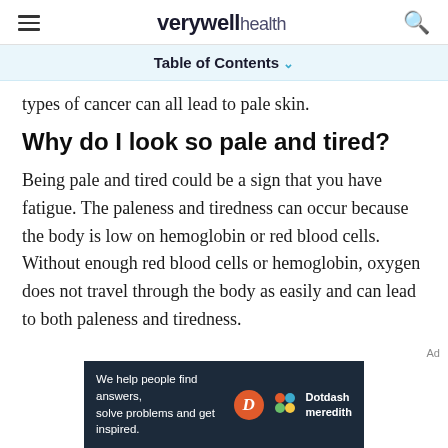verywell health
Table of Contents
types of cancer can all lead to pale skin.
Why do I look so pale and tired?
Being pale and tired could be a sign that you have fatigue. The paleness and tiredness can occur because the body is low on hemoglobin or red blood cells. Without enough red blood cells or hemoglobin, oxygen does not travel through the body as easily and can lead to both paleness and tiredness.
[Figure (other): Dotdash Meredith advertisement banner: 'We help people find answers, solve problems and get inspired.']